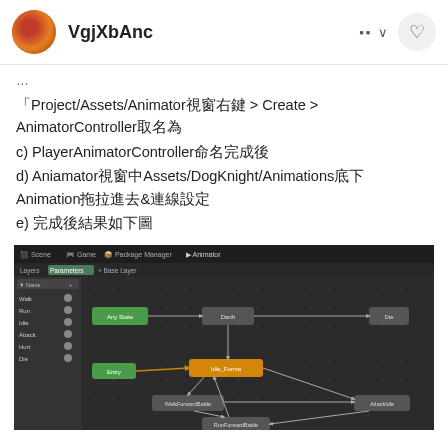VgjXbAnc
...
「Project/Assets/Animator視窗右鍵 > Create > AnimatorController取名為
c) PlayerAnimatorController命名完成後
d) Aniamator視窗中Assets/DogKnight/Animations底下的Animation拖拉進去&連線設定
e)  完成後結果如下圖
[Figure (screenshot): Unity Animator window showing state machine with nodes: Any State, Entry, Idle_Forma (orange), WalkForwardBattle, RunForwardBattle, AttackIdle, Die, Darth connected by transition arrows. Left panel shows parameters: Walk, Run, Idle, Attack, Hurt, Die.]